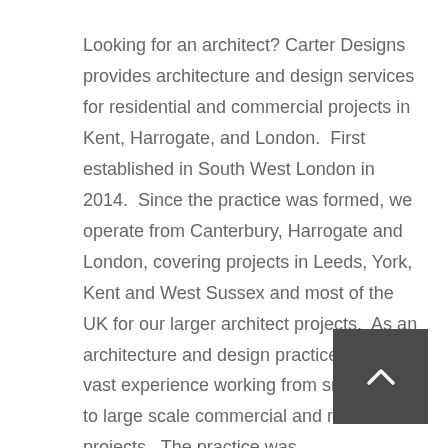Looking for an architect? Carter Designs provides architecture and design services for residential and commercial projects in Kent, Harrogate, and London.  First established in South West London in 2014.  Since the practice was formed, we operate from Canterbury, Harrogate and London, covering projects in Leeds, York, Kent and West Sussex and most of the UK for our larger architect projects.  As an architecture and design practice, we have vast experience working from small scale to large scale commercial and residential projects.  The practice was